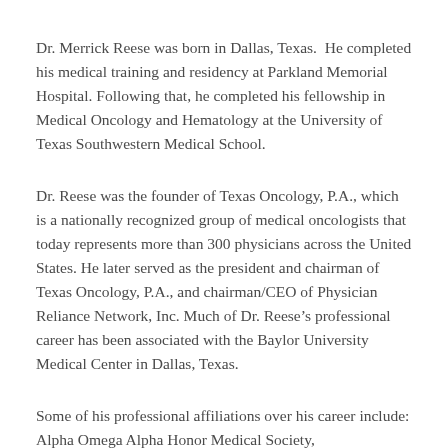Dr. Merrick Reese was born in Dallas, Texas.  He completed his medical training and residency at Parkland Memorial Hospital. Following that, he completed his fellowship in Medical Oncology and Hematology at the University of Texas Southwestern Medical School.
Dr. Reese was the founder of Texas Oncology, P.A., which is a nationally recognized group of medical oncologists that today represents more than 300 physicians across the United States. He later served as the president and chairman of Texas Oncology, P.A., and chairman/CEO of Physician Reliance Network, Inc. Much of Dr. Reese's professional career has been associated with the Baylor University Medical Center in Dallas, Texas.
Some of his professional affiliations over his career include: Alpha Omega Alpha Honor Medical Society,